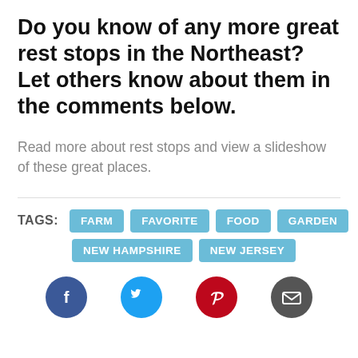Do you know of any more great rest stops in the Northeast? Let others know about them in the comments below.
Read more about rest stops and view a slideshow of these great places.
TAGS: FARM  FAVORITE  FOOD  GARDEN  NEW HAMPSHIRE  NEW JERSEY